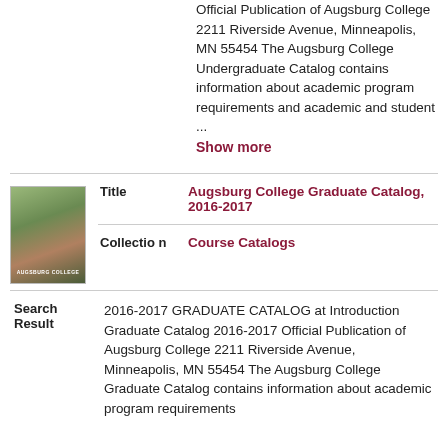Official Publication of Augsburg College 2211 Riverside Avenue, Minneapolis, MN 55454 The Augsburg College Undergraduate Catalog contains information about academic program requirements and academic and student ...
Show more
[Figure (photo): Thumbnail photo of Augsburg College campus aerial view with brick buildings and trees]
| Field | Value |
| --- | --- |
| Title | Augsburg College Graduate Catalog, 2016-2017 |
| Collection | Course Catalogs |
| Search Result | 2016-2017 GRADUATE CATALOG at Introduction Graduate Catalog 2016-2017 Official Publication of Augsburg College 2211 Riverside Avenue, Minneapolis, MN 55454 The Augsburg College Graduate Catalog contains information about academic program requirements |